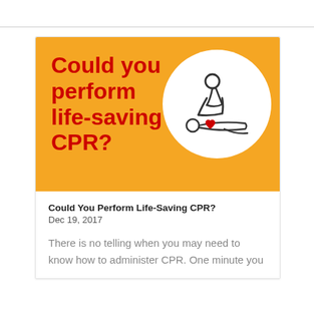[Figure (illustration): Orange banner with bold red text 'Could you perform life-saving CPR?' on the left, and a white circle containing a line-art CPR illustration (person performing chest compressions, with a red heart on the patient's chest) on the right.]
Could You Perform Life-Saving CPR?
Dec 19, 2017
There is no telling when you may need to know how to administer CPR. One minute you